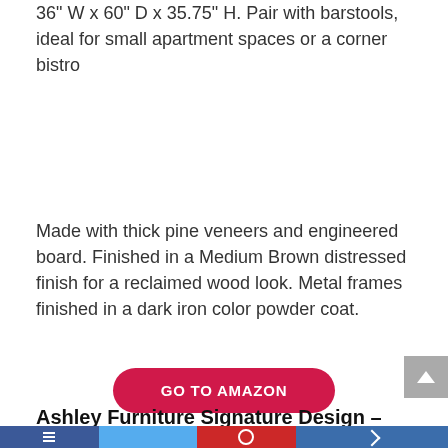36" W x 60" D x 35.75" H. Pair with barstools, ideal for small apartment spaces or a corner bistro
Made with thick pine veneers and engineered board. Finished in a Medium Brown distressed finish for a reclaimed wood look. Metal frames finished in a dark iron color powder coat.
GO TO AMAZON
Ashley Furniture Signature Design – Kavara Dining Room Chair – Medium Brown